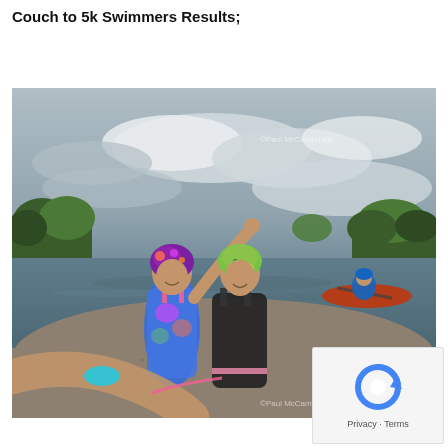Couch to 5k Swimmers Results;
[Figure (photo): Two female open-water swimmers standing on a gravelly shore by a river, celebrating after a swim. One wears a colorful purple floral swim cap and bright blue/pink swimsuit; the other wears a bright green cap and black swimsuit. A kayaker with an orange kayak is visible in the background on the river. Trees and cloudy sky in background. Photo credited to ©Paul McCambridge (watermark appears twice).]
[Figure (logo): Google reCAPTCHA icon (circular arrow logo in blue) above 'Privacy - Terms' text in a light grey box.]